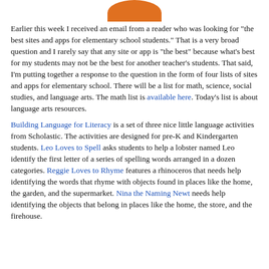[Figure (illustration): Bottom portion of an orange circular illustration, showing the curved lower arc of what appears to be a character or logo, orange colored.]
Earlier this week I received an email from a reader who was looking for "the best sites and apps for elementary school students." That is a very broad question and I rarely say that any site or app is "the best" because what's best for my students may not be the best for another teacher's students. That said, I'm putting together a response to the question in the form of four lists of sites and apps for elementary school. There will be a list for math, science, social studies, and language arts. The math list is available here. Today's list is about language arts resources.
Building Language for Literacy is a set of three nice little language activities from Scholastic. The activities are designed for pre-K and Kindergarten students. Leo Loves to Spell asks students to help a lobster named Leo identify the first letter of a series of spelling words arranged in a dozen categories. Reggie Loves to Rhyme features a rhinoceros that needs help identifying the words that rhyme with objects found in places like the home, the garden, and the supermarket. Nina the Naming Newt needs help identifying the objects that belong in places like the home, the store, and the firehouse.